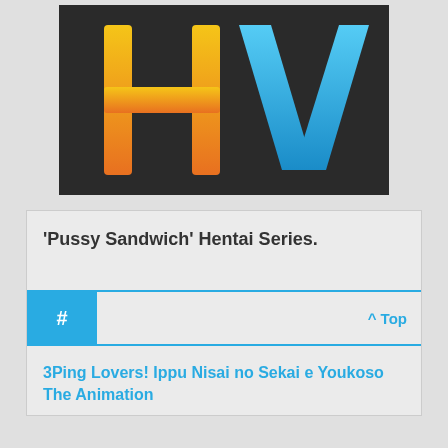[Figure (logo): HV logo — stylized gold/orange letter H and blue letter V on a dark background]
'Pussy Sandwich' Hentai Series.
# ^ Top
3Ping Lovers! Ippu Nisai no Sekai e Youkoso The Animation